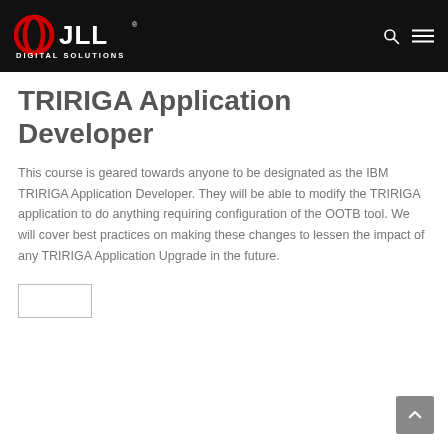JLL Digital Solutions
TRIRIGA Application Developer
This course is geared towards anyone to be designated as the IBM TRIRIGA Application Developer. They will be able to modify the TRIRIGA application to do anything requiring configuration of the OOTB tool. We will cover best practices on making these changes to lessen the impact of any TRIRIGA Application Upgrade in the future.
[Figure (other): Button placeholder (empty rectangular button outline)]